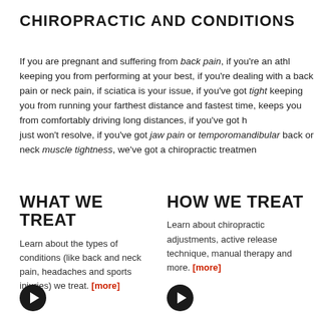CHIROPRACTIC AND CONDITIONS
If you are pregnant and suffering from back pain, if you're an athlete and something is keeping you from performing at your best, if you're dealing with a chronic back pain or neck pain, if sciatica is your issue, if you've got tight muscles keeping you from running your farthest distance and fastest time, if something keeps you from comfortably driving long distances, if you've got headaches that just won't resolve, if you've got jaw pain or temporomandibular issues, or back or neck muscle tightness, we've got a chiropractic treatment for you.
WHAT WE TREAT
Learn about the types of conditions (like back and neck pain, headaches and sports injuries) we treat. [more]
HOW WE TREAT
Learn about chiropractic adjustments, active release technique, manual therapy and more. [more]
[Figure (illustration): Dark circular arrow/play button icon on left column]
[Figure (illustration): Dark circular arrow/play button icon on right column]